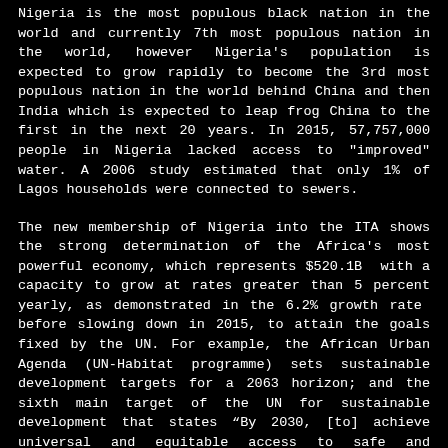Nigeria is the most populous black nation in the world and currently 7th most populous nation in the world, however Nigeria's population is expected to grow rapidly to become the 3rd most populous nation in the world behind China and then India which is expected to leap frog China to the first in the next 20 years. In 2015, 57,757,000 people in Nigeria lacked access to "improved" water. A 2006 study estimated that only 1% of Lagos households were connected to sewers.
The new membership of Nigeria into the ITA shows the strong determination of the Africa's most powerful economy, which represents $520.1B  with a capacity to grow at rates greater than 5 percent yearly, as demonstrated in the 6.2% growth rate  before slowing down in 2015, to attain the goals fixed by the UN. For example, the African Urban Agenda (UN-Habitat programme) sets sustainable development targets for a 2063 horizon; and the sixth main target of the UN for sustainable development that states “By 2030, [to] achieve universal and equitable access to safe and affordable drinking water for all”. A lot of things have already been done in order to improve the situation: Lagos has four wastewater treatment plants which have been rehabilitated around 2010. From 2011, the state planned to build ten new "mega wastewater treatment plants" over a five-years period with the help of private investors. The National Integrated Infrastructure